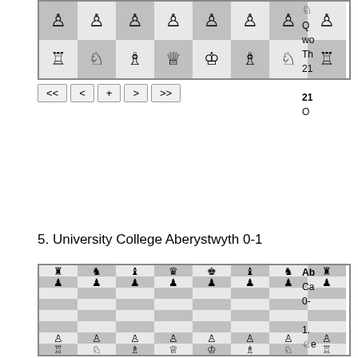[Figure (illustration): Chess board showing starting position with white pieces on bottom two rows (white: rooks, knights, bishops, queen, king on back rank; pawns on second rank), displayed from white's perspective. Navigation buttons below: <<, <, +, >, >>]
Q wo Th 21 21 O
5. University College Aberystwyth 0-1
[Figure (illustration): Chess board showing starting position with black pieces on top two rows and white pieces on bottom two rows. Black pieces: rooks, knights, bishops, queen, king on top rank; pawns on second rank. White pieces: pawns on seventh rank, rooks, knights, bishops, queen, king on eighth rank. Navigation buttons below: <<, <, +, >, >>]
Ab Ca 0- 1. ♘e 21 me on Ju